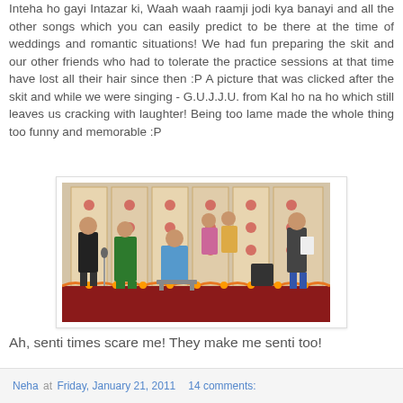Inteha ho gayi Intazar ki, Waah waah raamji jodi kya banayi and all the other songs which you can easily predict to be there at the time of weddings and romantic situations! We had fun preparing the skit and our other friends who had to tolerate the practice sessions at that time have lost all their hair since then :P A picture that was clicked after the skit and while we were singing - G.U.J.J.U. from Kal ho na ho which still leaves us cracking with laughter! Being too lame made the whole thing too funny and memorable :P
[Figure (photo): Group of people on a decorated stage at a wedding or cultural event. People are in colorful traditional attire, one person seated on chair in blue outfit, one in green, two men standing on sides. Red carpet on stage, decorative backdrop with orange and red patterns.]
Ah, senti times scare me! They make me senti too!
Neha at Friday, January 21, 2011   14 comments: